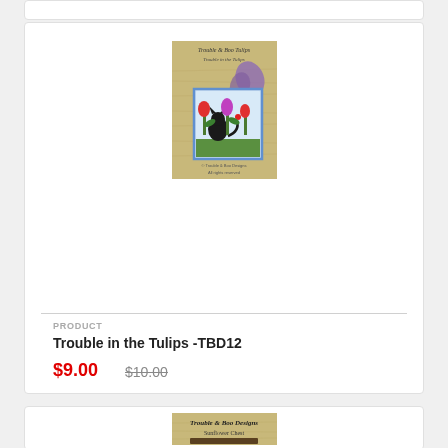[Figure (photo): Product image of 'Trouble in the Tulips -TBD12' craft pattern showing a black cat among tulips on a textured straw background]
PRODUCT
Trouble in the Tulips -TBD12
$9.00 $10.00
[Figure (photo): Bottom product image showing 'Trouble & Boo Designs Sunflower Chest' on a tan/straw background]